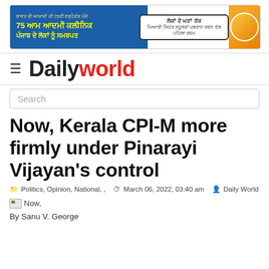[Figure (infographic): Blue advertisement banner in Punjabi for '75 Aam Aadmi Clinic' with a person's photo on the right side. Text includes Punjabi script about healthcare services.]
Daily world
Search
Now, Kerala CPI-M more firmly under Pinarayi Vijayan's control
Politics, Opinion, National, ,   March 06, 2022, 03:40 am   Daily World
[Figure (photo): Broken image icon thumbnail for 'Now,']
By Sanu V. George